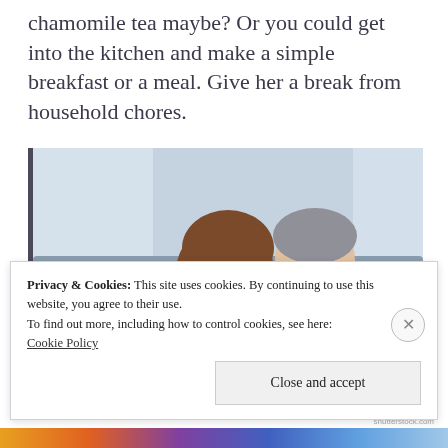chamomile tea maybe? Or you could get into the kitchen and make a simple breakfast or a meal. Give her a break from household chores.
[Figure (photo): A woman holding a white mug drinking tea while a man kisses her on the cheek; they are seated on a sofa near a window.]
Privacy & Cookies: This site uses cookies. By continuing to use this website, you agree to their use.
To find out more, including how to control cookies, see here:
Cookie Policy
Close and accept